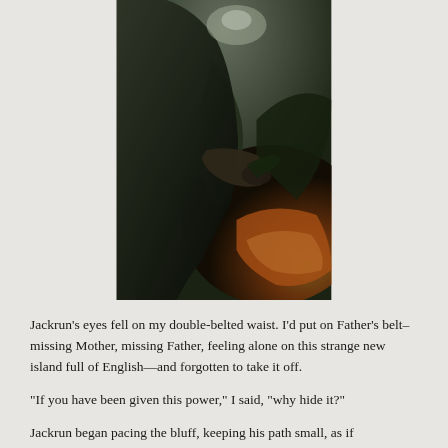[Figure (illustration): A dark fantasy book cover image showing a figure in dark robes holding what appears to be a dragon claw or creature limb, with fiery orange light in the background]
Jackrun's eyes fell on my double-belted waist. I'd put on Father's belt–missing Mother, missing Father, feeling alone on this strange new island full of English—and forgotten to take it off.
“If you have been given this power,” I said, “why hide it?”
Jackrun began pacing the bluff, keeping his path small, as if